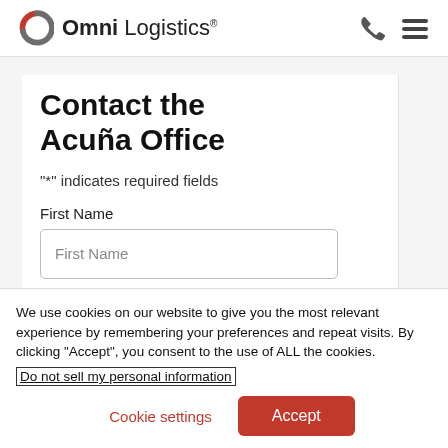[Figure (logo): Omni Logistics logo with circular arrow icon in red and gray]
Contact the Acuña Office
"*" indicates required fields
First Name
We use cookies on our website to give you the most relevant experience by remembering your preferences and repeat visits. By clicking "Accept", you consent to the use of ALL the cookies. Do not sell my personal information